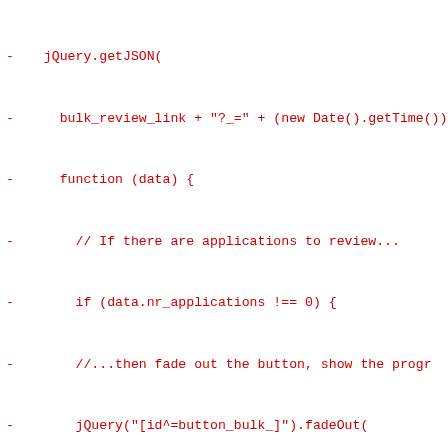- jQuery.getJSON(
-   bulk_review_link + "?_=" + (new Date().getTime())
-   function (data) {
-     // If there are applications to review...
-     if (data.nr_applications !== 0) {
-     //...then fade out the button, show the prog
-     jQuery("[id^=button_bulk_]").fadeOut(
-       "slow",
-       function () {
-         jQuery("#applications_progress_bar").prog
-         jQuery("#description_done").html("");
-         jQuery("#applications_progress_bar").fade
-       }
-     );
-     }
-     else {
-       var no_organization_text = "No organizations
-       if (jQuery(button).attr("id").indexOf("reject
-         no_organization_text += "reject";
-       }
-       else {
-         no_organization_text += "accept";